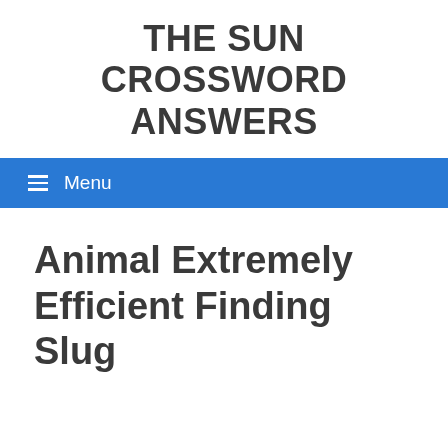THE SUN CROSSWORD ANSWERS
☰ Menu
Animal Extremely Efficient Finding Slug